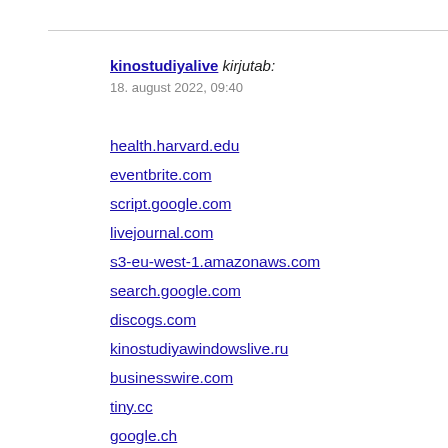kinostudiyalive kirjutab:
18. august 2022, 09:40
health.harvard.edu
eventbrite.com
script.google.com
livejournal.com
s3-eu-west-1.amazonaws.com
search.google.com
discogs.com
kinostudiyawindowslive.ru
businesswire.com
tiny.cc
google.ch
squareup.com
google.it
pinterest.com